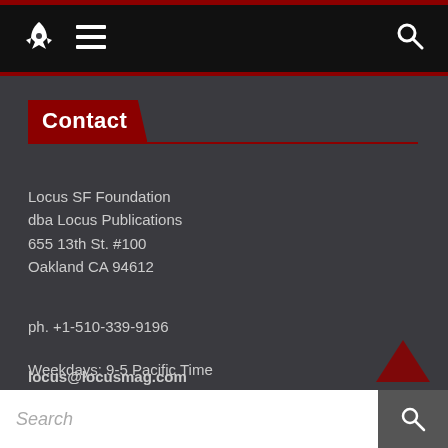[Figure (screenshot): Website navigation bar with rocket logo, hamburger menu icon, and search icon on black background with dark red top stripe]
Contact
Locus SF Foundation
dba Locus Publications
655 13th St. #100
Oakland CA 94612
ph. +1-510-339-9196
locus@locusmag.com
Weekdays: 9-5 Pacific Time
[Figure (screenshot): Search bar with white input field showing 'Search' placeholder text and dark search button with magnifying glass icon]